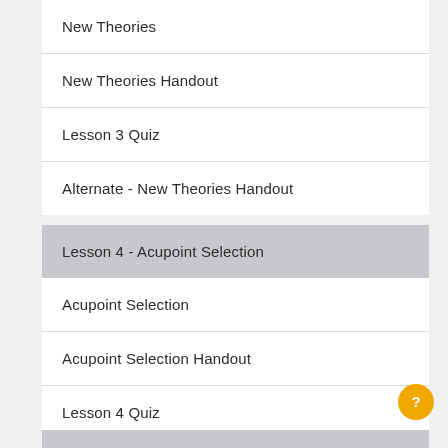New Theories
New Theories Handout
Lesson 3 Quiz
Alternate - New Theories Handout
Lesson 4 - Acupoint Selection
Acupoint Selection
Acupoint Selection Handout
Lesson 4 Quiz
Alternate - Acupoint Selection Handout